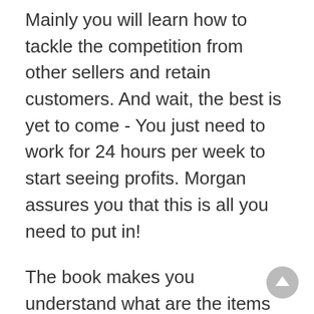Mainly you will learn how to tackle the competition from other sellers and retain customers. And wait, the best is yet to come - You just need to work for 24 hours per week to start seeing profits. Morgan assures you that this is all you need to put in!
The book makes you understand what are the items that you need to manufacture so that you get higher profits, the type of customers you should approach and sell, and where you should sell the items. With this, you are on the right track to start a successful business.